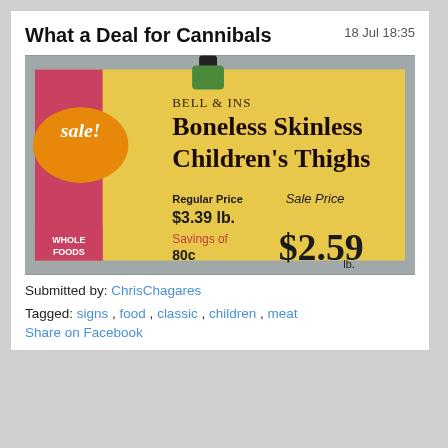What a Deal for Cannibals
18 Jul 18:35
[Figure (photo): Photo of a Whole Foods sale sign reading 'Bell & Ins Boneless Skinless Children's Thighs' with Regular Price $3.39 lb., Sale Price $2.59 lb., Savings of 80c]
Submitted by: ChrisChagares
Tagged: signs , food , classic , children , meat
Share on Facebook